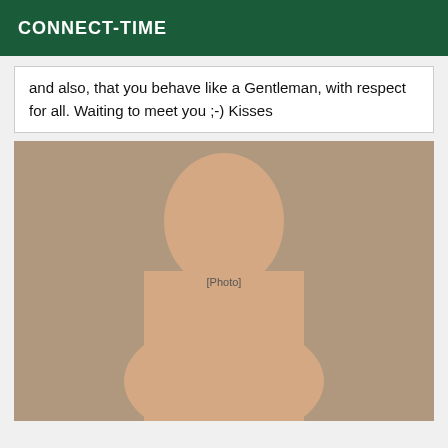CONNECT-TIME
and also, that you behave like a Gentleman, with respect for all. Waiting to meet you ;-) Kisses
[Figure (photo): Photo of a young woman with long straight brown/blonde hair, wearing hoop earrings, looking at the camera.]